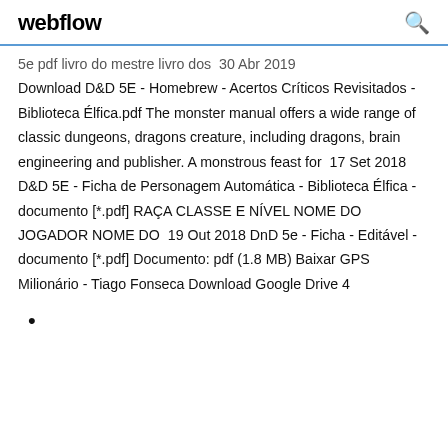webflow
5e pdf livro do mestre livro dos  30 Abr 2019 Download D&D 5E - Homebrew - Acertos Críticos Revisitados - Biblioteca Élfica.pdf The monster manual offers a wide range of classic dungeons, dragons creature, including dragons, brain engineering and publisher. A monstrous feast for  17 Set 2018 D&D 5E - Ficha de Personagem Automática - Biblioteca Élfica - documento [*.pdf] RAÇA CLASSE E NÍVEL NOME DO JOGADOR NOME DO  19 Out 2018 DnD 5e - Ficha - Editável - documento [*.pdf] Documento: pdf (1.8 MB) Baixar GPS Milionário - Tiago Fonseca Download Google Drive 4
•